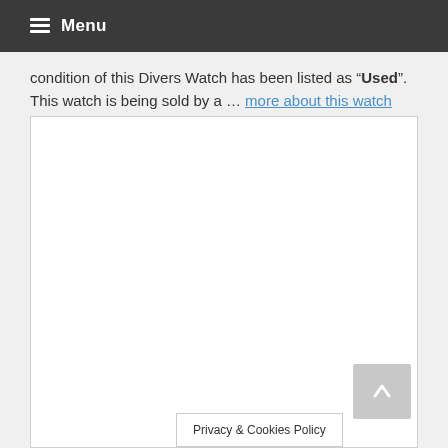Menu
condition of this Divers Watch has been listed as “Used”. This watch is being sold by a … more about this watch
[Figure (other): Large white empty box with border, occupying lower portion of page]
Privacy & Cookies Policy